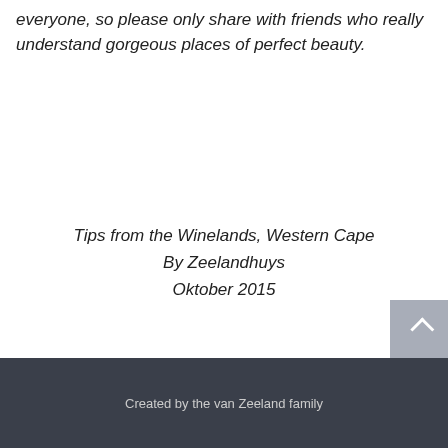everyone, so please only share with friends who really understand gorgeous places of perfect beauty.
Tips from the Winelands, Western Cape
By Zeelandhuys
Oktober 2015
Created by the van Zeeland family